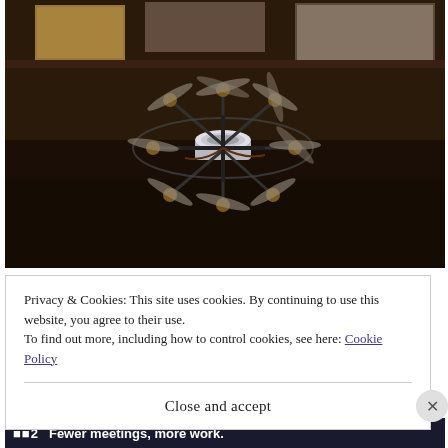[Figure (photo): A multi-rotor drone (hexacopter/octocopter) photographed indoors in a dark room. The drone has a circular frame with multiple arms, propellers, and a white cylindrical central unit. In the background, illuminated display panels or screens are visible on the wall showing city/street scenes.]
Privacy & Cookies: This site uses cookies. By continuing to use this website, you agree to their use.
To find out more, including how to control cookies, see here: Cookie Policy
Close and accept
Fewer meetings, more work.